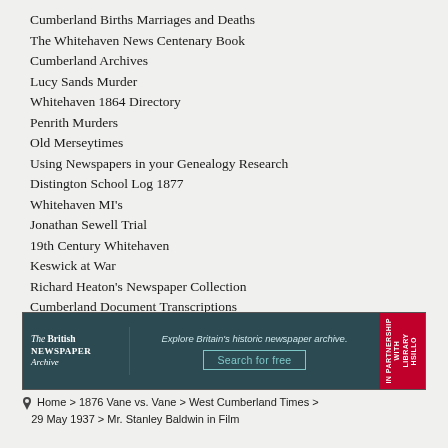Cumberland Births Marriages and Deaths
The Whitehaven News Centenary Book
Cumberland Archives
Lucy Sands Murder
Whitehaven 1864 Directory
Penrith Murders
Old Merseytimes
Using Newspapers in your Genealogy Research
Distington School Log 1877
Whitehaven MI's
Jonathan Sewell Trial
19th Century Whitehaven
Keswick at War
Richard Heaton's Newspaper Collection
Cumberland Document Transcriptions
[Figure (infographic): The British Newspaper Archive advertisement banner with tagline 'Explore Britain's historic newspaper archive.' and 'Search for free' button, in partnership with Library logo on red background.]
Home > 1876 Vane vs. Vane > West Cumberland Times > 29 May 1937 > Mr. Stanley Baldwin in Film